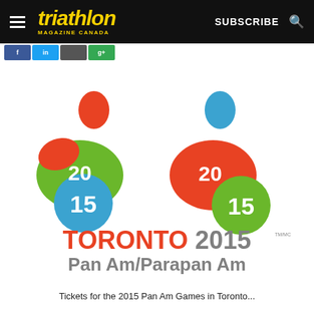triathlon MAGAZINE CANADA  SUBSCRIBE
[Figure (logo): Toronto 2015 Pan Am / Parapan Am Games official logo: two stylized human figures in green, orange, blue, and green with '2015' text integrated, one outlined (Pan Am) and one filled (Parapan Am). Text below reads TORONTO 2015 Pan Am/Parapan Am.]
Tickets for the 2015 Pan Am Games in Toronto...